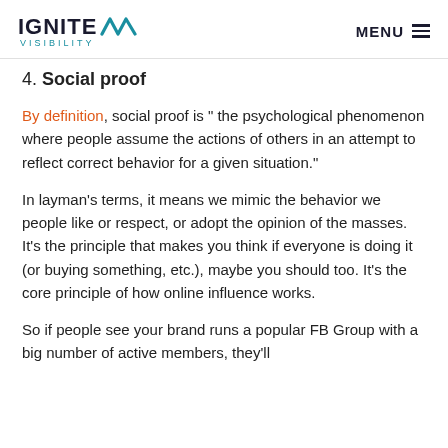IGNITE VISIBILITY | MENU
4. Social proof
By definition, social proof is “ the psychological phenomenon where people assume the actions of others in an attempt to reflect correct behavior for a given situation.”
In layman’s terms, it means we mimic the behavior we people like or respect, or adopt the opinion of the masses. It’s the principle that makes you think if everyone is doing it (or buying something, etc.), maybe you should too. It’s the core principle of how online influence works.
So if people see your brand runs a popular FB Group with a big number of active members, they’ll